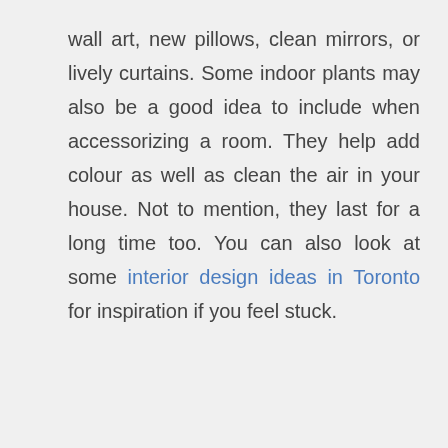wall art, new pillows, clean mirrors, or lively curtains. Some indoor plants may also be a good idea to include when accessorizing a room. They help add colour as well as clean the air in your house. Not to mention, they last for a long time too. You can also look at some interior design ideas in Toronto for inspiration if you feel stuck.